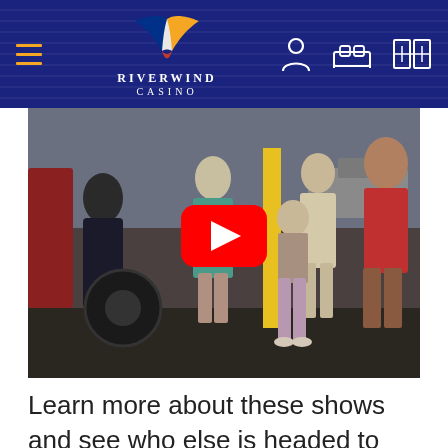Riverwind Casino navigation bar with hamburger menu, logo, and icons
[Figure (screenshot): YouTube video thumbnail showing people standing on a street scene, with a YouTube play button overlay in the center]
Learn more about these shows and see who else is headed to the Showplace